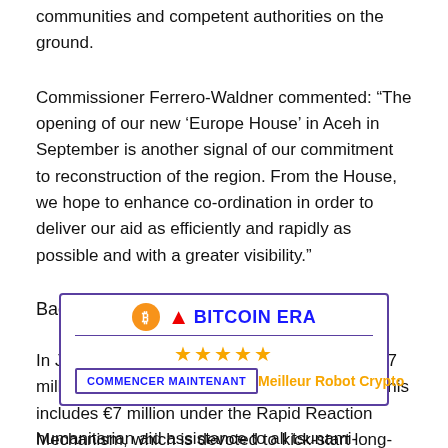communities and competent authorities on the ground.
Commissioner Ferrero-Waldner commented: “The opening of our new ‘Europe House’ in Aceh in September is another signal of our commitment to reconstruction of the region. From the House, we hope to enhance co-ordination in order to deliver our aid as efficiently and rapidly as possible and with a greater visibility.”
Background
In January 2005, the Commission pledged €207 million reconstruction package for Indonesia. This includes €7 million under the Rapid Reaction Mechanism, which is devoted to kick-start long-term reconstruction work. A total of €203.5 million will be provi…nd. This support
[Figure (other): Bitcoin Era advertisement overlay with logo, stars rating, COMMENCER MAINTENANT button, and Meilleur Robot Crypto text]
humanitarian aid assistance to all tsunami-affected countries